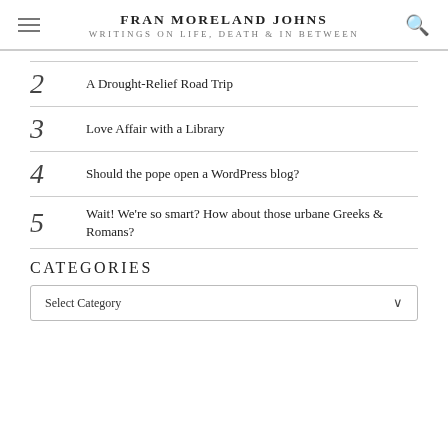FRAN MORELAND JOHNS
WRITINGS ON LIFE, DEATH & IN BETWEEN
2  A Drought-Relief Road Trip
3  Love Affair with a Library
4  Should the pope open a WordPress blog?
5  Wait! We're so smart? How about those urbane Greeks & Romans?
CATEGORIES
Select Category